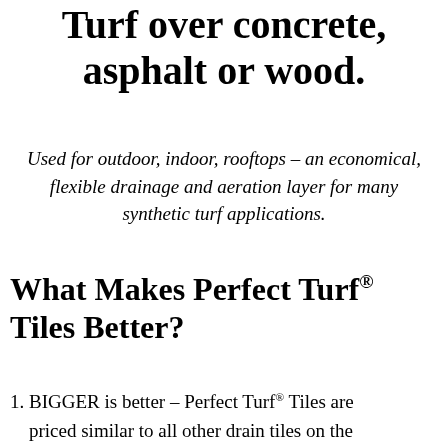Turf over concrete, asphalt or wood.
Used for outdoor, indoor, rooftops – an economical, flexible drainage and aeration layer for many synthetic turf applications.
What Makes Perfect Turf® Tiles Better?
1. BIGGER is better – Perfect Turf® Tiles are priced similar to all other drain tiles on the